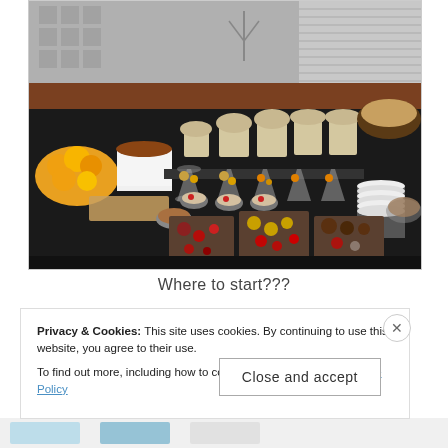[Figure (photo): A hotel or restaurant buffet spread with pastries, muffins in paper wrappers, desserts on trays, fruit bowls, glasses with snacks, and stacked plates on a dark counter.]
Where to start???
Privacy & Cookies: This site uses cookies. By continuing to use this website, you agree to their use.
To find out more, including how to control cookies, see here: Cookie Policy
Close and accept